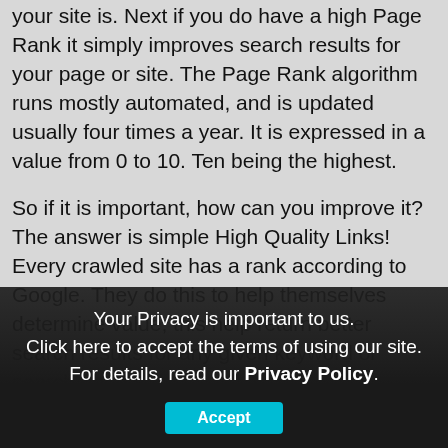your site is. Next if you do have a high Page Rank it simply improves search results for your page or site. The Page Rank algorithm runs mostly automated, and is updated usually four times a year. It is expressed in a value from 0 to 10. Ten being the highest.
So if it is important, how can you improve it? The answer is simple High Quality Links! Every crawled site has a rank according to Google. They do this to help themselves determine value; this help return better search results for any given keyword or search phrase.
How can you Improve your Page Rank
A high quality link comes from a reputable site with a great Page Rank. Not only do you want these high quality inbound links from this type of site, they work to increase your rank. The resulting higher valuation of
Your Privacy is important to us.
Click here to accept the terms of using our site.
For details, read our Privacy Policy.